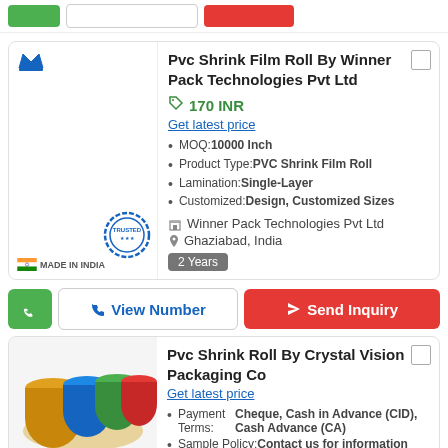Pvc Shrink Film Roll By Winner Pack Technologies Pvt Ltd
170 INR
Get latest price
MOQ: 10000 Inch
Product Type:PVC Shrink Film Roll
Lamination:Single-Layer
Customized:Design, Customized Sizes
Winner Pack Technologies Pvt Ltd
Ghaziabad, India
2 Years
Pvc Shrink Roll By Crystal Vision Packaging Co
Get latest price
Payment Terms:Cheque, Cash in Advance (CID), Cash Advance (CA)
Sample Policy:Contact us for information